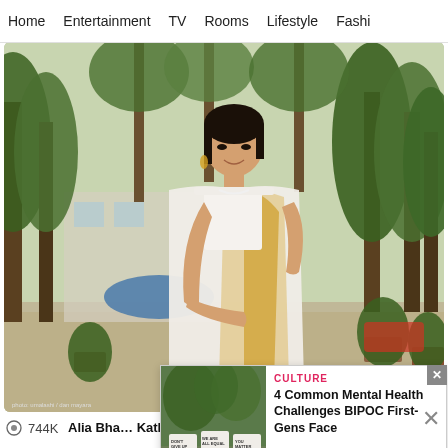Home  Entertainment  TV  Rooms  Lifestyle  Fashi
[Figure (photo): Woman in a white and gold saree standing outdoors with tropical trees and buildings in background]
744K
Alia Bha... Kathiaw... guba'
[Figure (photo): Advertisement: Signs saying DON'T GIVE UP, WE ARE ALL EQUAL, YOU MATTER on a fence with trees. CULTURE - 4 Common Mental Health Challenges BIPOC First-Gens Face. READ MORE > HipLATINA]